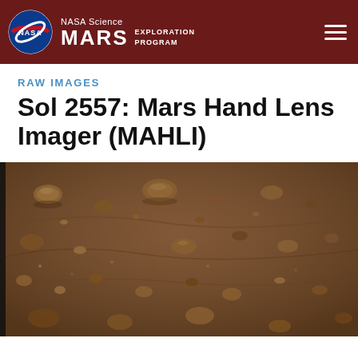NASA Science MARS EXPLORATION PROGRAM
RAW IMAGES
Sol 2557: Mars Hand Lens Imager (MAHLI)
[Figure (photo): Close-up photograph of the Martian surface showing reddish-brown rocky terrain with small pebbles, dust, and granular soil texture taken by the MAHLI camera on Sol 2557.]